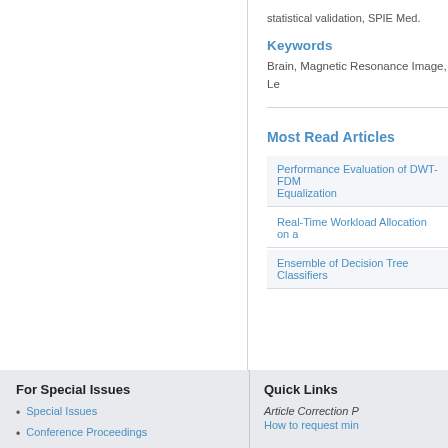statistical validation, SPIE Med.
Keywords
Brain, Magnetic Resonance Image, Le
Most Read Articles
Performance Evaluation of DWT-FDM Equalization
Real-Time Workload Allocation on a
Ensemble of Decision Tree Classifiers
For Special Issues
Special Issues
Conference Proceedings
Quick Links
Article Correction P
How to request min